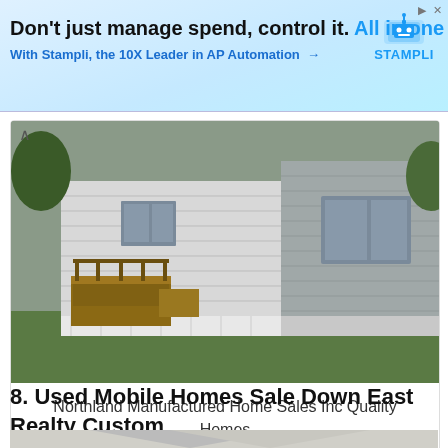[Figure (screenshot): Advertisement banner for Stampli AP Automation software. Text reads: Don't just manage spend, control it. All in one place. With Stampli, the 10X Leader in AP Automation →. Includes Stampli logo with robot icon.]
[Figure (photo): Photo of a manufactured/mobile home exterior showing white horizontal siding with a wooden deck/stairs on the left side and grey siding on the right side, surrounded by green grass and trees.]
Northland Manufactured Home Sales Inc Quality Homes
8. Used Mobile Homes Sale Down East Realty Custom
[Figure (photo): Partial photo of a manufactured home showing the roofline and upper walls with white/cream colored siding, cropped at bottom of page.]